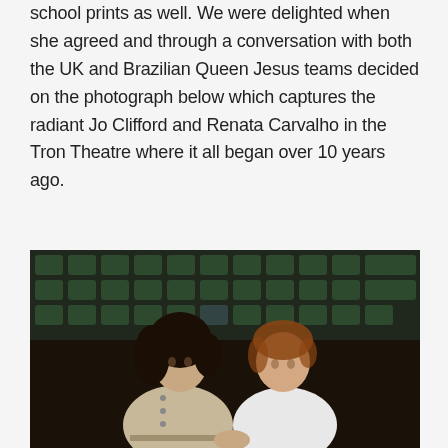school prints as well. We were delighted when she agreed and through a conversation with both the UK and Brazilian Queen Jesus teams decided on the photograph below which captures the radiant Jo Clifford and Renata Carvalho in the Tron Theatre where it all began over 10 years ago.
[Figure (photo): Photograph of two women standing side by side in a theatre with green seats visible in the background. The woman on the left has long dark curly hair and wears a light-coloured trench coat. The woman on the right has short reddish-brown hair and wears a white sleeveless top. They appear to be holding hands.]